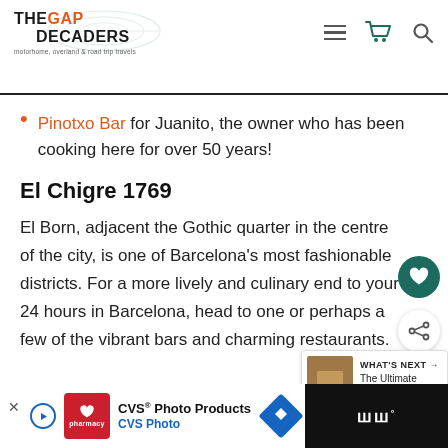THE GAP DECADERS — motorhome, overland & road trip travels
Pinotxo Bar for Juanito, the owner who has been cooking here for over 50 years!
El Chigre 1769
El Born, adjacent the Gothic quarter in the centre of the city, is one of Barcelona's most fashionable districts. For a more lively and culinary end to your 24 hours in Barcelona, head to one or perhaps a few of the vibrant bars and charming restaurants.
[Figure (screenshot): What's Next widget with thumbnail image and text 'The Ultimate Bucket List...']
CVS® Photo Products — CVS Photo (advertisement)